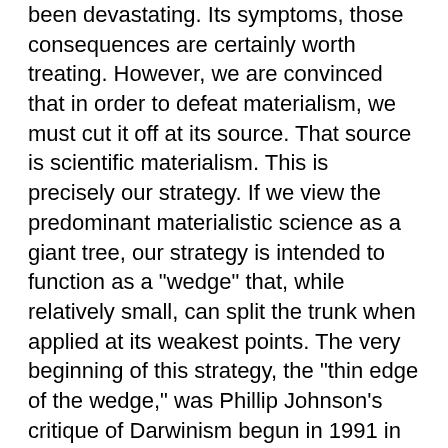been devastating. Its symptoms, those consequences are certainly worth treating. However, we are convinced that in order to defeat materialism, we must cut it off at its source. That source is scientific materialism. This is precisely our strategy. If we view the predominant materialistic science as a giant tree, our strategy is intended to function as a "wedge" that, while relatively small, can split the trunk when applied at its weakest points. The very beginning of this strategy, the "thin edge of the wedge," was Phillip Johnson's critique of Darwinism begun in 1991 in Darwinism on Trial, and continued in Reason in the Balance and Defeatng Darwinism by Opening Minds. Michael Behe's highly successful Darwin's Black Box followed Johnson's work. We are building on this momentum, broadening the wedge with a positive scientific alternative to materialistic scientific theories, which has come to be called the theory of intelligent design (ID). Design theory promises to reverse the stifling dominance of the materialist worldview, and to replace it with a